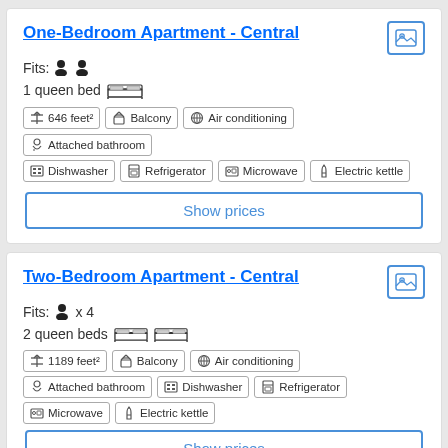One-Bedroom Apartment - Central
Fits: 2 persons
1 queen bed
646 feet², Balcony, Air conditioning, Attached bathroom, Dishwasher, Refrigerator, Microwave, Electric kettle
Show prices
Two-Bedroom Apartment - Central
Fits: x 4
2 queen beds
1189 feet², Balcony, Air conditioning, Attached bathroom, Dishwasher, Refrigerator, Microwave, Electric kettle
Show prices